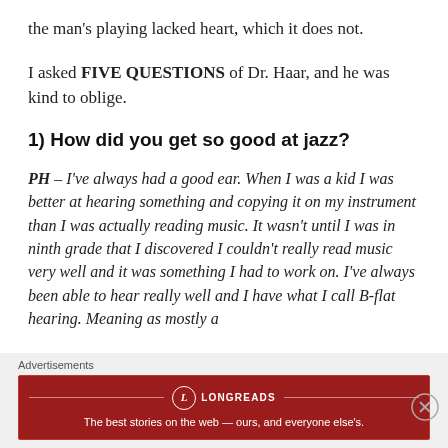the man's playing lacked heart, which it does not.
I asked FIVE QUESTIONS of Dr. Haar, and he was kind to oblige.
1) How did you get so good at jazz?
PH – I've always had a good ear. When I was a kid I was better at hearing something and copying it on my instrument than I was actually reading music. It wasn't until I was in ninth grade that I discovered I couldn't really read music very well and it was something I had to work on. I've always been able to hear really well and I have what I call B-flat hearing. Meaning as mostly a
Advertisements
[Figure (infographic): Longreads advertisement banner in dark red with logo and tagline: The best stories on the web — ours, and everyone else's.]